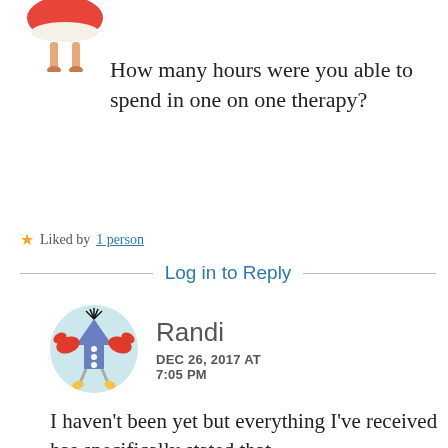[Figure (illustration): Partial avatar image of a cartoon character with red/orange coloring and legs, cropped at top]
How many hours were you able to spend in one on one therapy?
Liked by 1 person
Log in to Reply
[Figure (illustration): Circular avatar showing a cartoon crab-like creature in blue with red claws on a light teal background]
Randi
DEC 26, 2017 AT 7:05 PM
I haven't been yet but everything I've received has specifically stated that